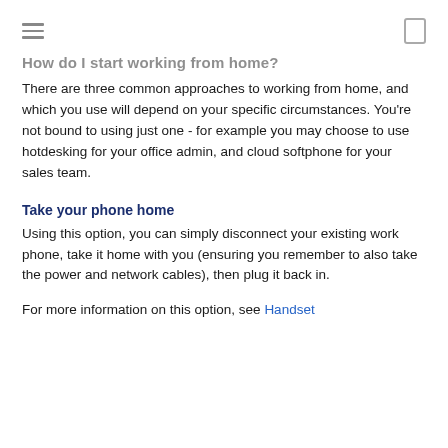How do I start working from home?
There are three common approaches to working from home, and which you use will depend on your specific circumstances. You're not bound to using just one - for example you may choose to use hotdesking for your office admin, and cloud softphone for your sales team.
Take your phone home
Using this option, you can simply disconnect your existing work phone, take it home with you (ensuring you remember to also take the power and network cables), then plug it back in.
For more information on this option, see Handset